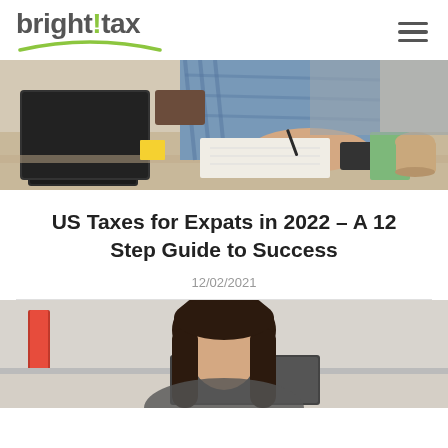bright!tax
[Figure (photo): Man sitting at desk with laptop, writing notes, with coffee cup and notebooks in background]
US Taxes for Expats in 2022 – A 12 Step Guide to Success
12/02/2021
[Figure (photo): Woman with long dark hair sitting at desk, partially visible, office background with binders]